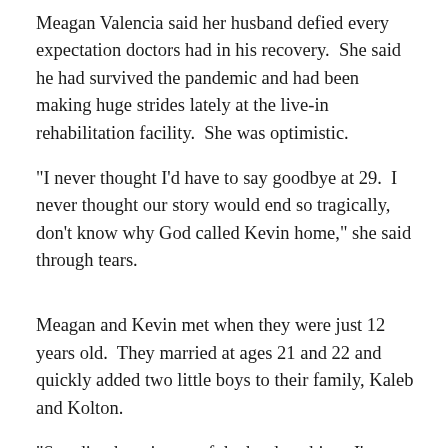Meagan Valencia said her husband defied every expectation doctors had in his recovery.  She said he had survived the pandemic and had been making huge strides lately at the live-in rehabilitation facility.  She was optimistic.
"I never thought I'd have to say goodbye at 29.  I never thought our story would end so tragically, don't know why God called Kevin home," she said through tears.
Meagan and Kevin met when they were just 12 years old.  They married at ages 21 and 22 and quickly added two little boys to their family, Kaleb and Kolton.
"Standing here is one of the hardest things I've ever had to do. We shouldn't be here. We should be sitting